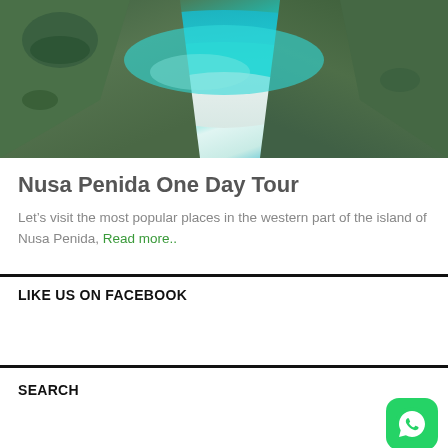[Figure (photo): Aerial view of a turquoise beach cove with white sand surrounded by steep green cliffs, Nusa Penida island, Bali]
Nusa Penida One Day Tour
Let’s visit the most popular places in the western part of the island of Nusa Penida, Read more..
LIKE US ON FACEBOOK
SEARCH